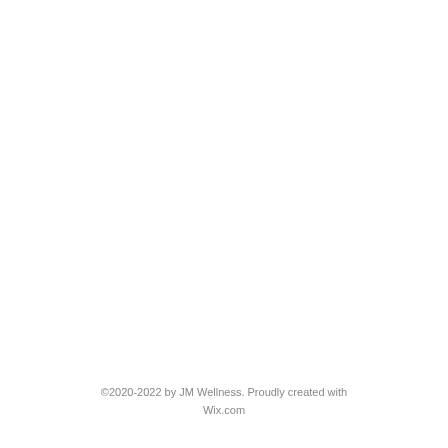©2020-2022 by JM Wellness. Proudly created with Wix.com